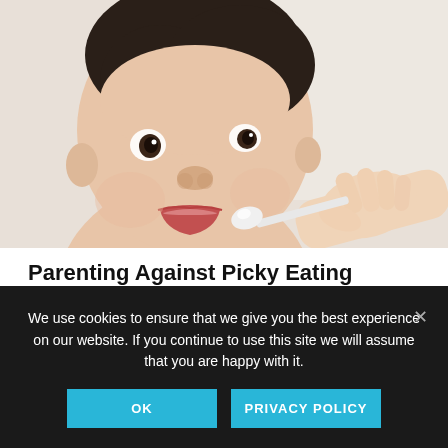[Figure (photo): Close-up photo of a baby/toddler being fed with a spoon by an adult hand, white background]
Parenting Against Picky Eating
by CAROLYN DAVIS COCKEY, MLS, LCCE
We use cookies to ensure that we give you the best experience on our website. If you continue to use this site we will assume that you are happy with it.
OK  PRIVACY POLICY